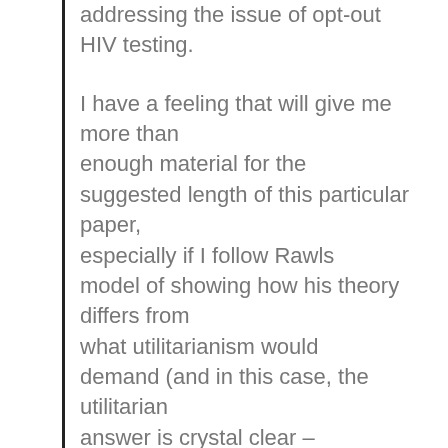addressing the issue of opt-out HIV testing.
I have a feeling that will give me more than enough material for the suggested length of this particular paper, especially if I follow Rawls model of showing how his theory differs from what utilitarianism would demand (and in this case, the utilitarian answer is crystal clear – interestingly, I'm not entirely certain what the Rawlsian answer will be).